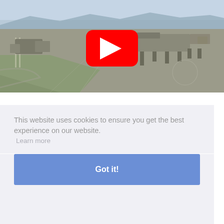[Figure (screenshot): Aerial view of airport with terminals and tarmac, with a YouTube play button overlay in the center]
This website uses cookies to ensure you get the best experience on our website.
Learn more
Got it!